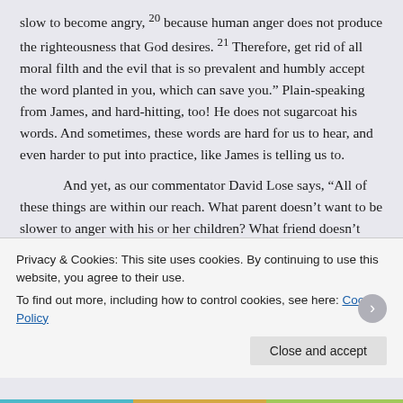slow to become angry, ²⁰ because human anger does not produce the righteousness that God desires. ²¹ Therefore, get rid of all moral filth and the evil that is so prevalent and humbly accept the word planted in you, which can save you.” Plain-speaking from James, and hard-hitting, too! He does not sugarcoat his words. And sometimes, these words are hard for us to hear, and even harder to put into practice, like James is telling us to.
And yet, as our commentator David Lose says, “All of these things are within our reach. What parent doesn’t want to be slower to anger with his or her children? What friend doesn’t want to be a better listener? Aren’t all of us in a position to offer help and support to those in need? James encourages us not just to think the faith, but to do it.” [3]
Now, is James only talking to pastors? To church leaders? No, he is not. James is addressing the whole congregation. That means all of us – all
Privacy & Cookies: This site uses cookies. By continuing to use this website, you agree to their use.
To find out more, including how to control cookies, see here: Cookie Policy
Close and accept